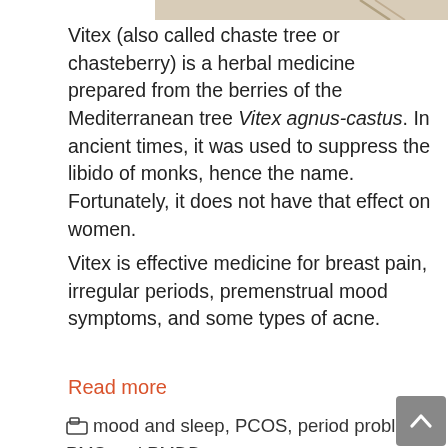[Figure (photo): Partial image of a plant or natural background visible at top of page]
Vitex (also called chaste tree or chasteberry) is a herbal medicine prepared from the berries of the Mediterranean tree Vitex agnus-castus. In ancient times, it was used to suppress the libido of monks, hence the name. Fortunately, it does not have that effect on women.
Vitex is effective medicine for breast pain, irregular periods, premenstrual mood symptoms, and some types of acne.
Read more
mood and sleep, PCOS, period problems, PMS and PMDD, progesterone
breast health, fertility, period problems, PMDD, PMS, premenstrual, progesterone, prolactin, vitex